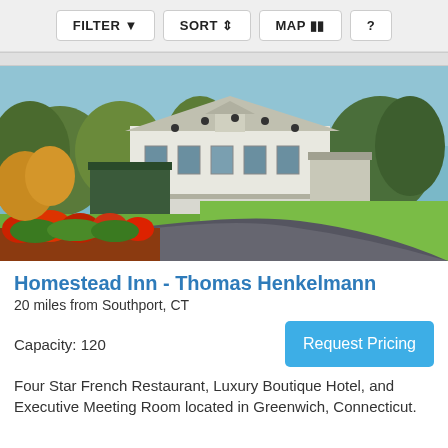FILTER   SORT   MAP   ?
[Figure (photo): Exterior photo of Homestead Inn showing a white colonial-style building with a curved driveway, green lawn, and colorful red flowers in the foreground, surrounded by trees.]
Homestead Inn - Thomas Henkelmann
20 miles from Southport, CT
Capacity: 120
Request Pricing
Four Star French Restaurant, Luxury Boutique Hotel, and Executive Meeting Room located in Greenwich, Connecticut.